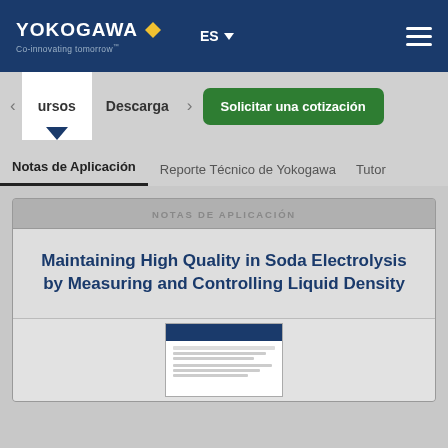YOKOGAWA Co-innovating tomorrow — ES
ursos   Descarga
Solicitar una cotización
Notas de Aplicación
Reporte Técnico de Yokogawa
Tutor
NOTAS DE APLICACIÓN
Maintaining High Quality in Soda Electrolysis by Measuring and Controlling Liquid Density
[Figure (screenshot): Thumbnail preview of the application note document with dark blue header]